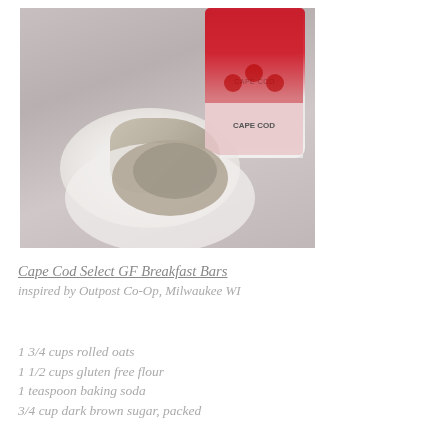[Figure (photo): Photo of a baked oat bar on a white plate, with a bag of Cape Cod Select product visible in the background on a gray surface.]
Cape Cod Select GF Breakfast Bars
inspired by Outpost Co-Op, Milwaukee WI
1 3/4 cups rolled oats
1 1/2 cups gluten free flour
1 teaspoon baking soda
3/4 cup dark brown sugar, packed